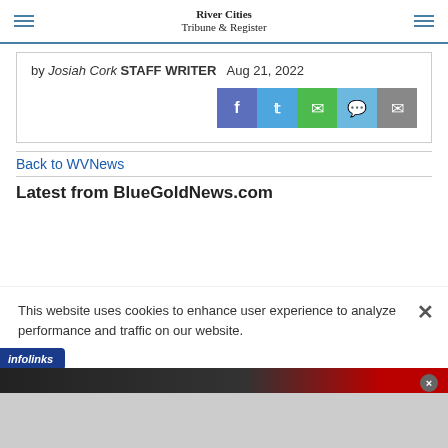River Cities Tribune & Register
by Josiah Cork STAFF WRITER  Aug 21, 2022
[Figure (infographic): Social share buttons: Facebook, Twitter, WhatsApp, Message, Email]
Back to WVNews
Latest from BlueGoldNews.com
This website uses cookies to enhance user experience to analyze performance and traffic on our website.
[Figure (infographic): Infolinks badge]
[Figure (infographic): Dickies ad banner: ADVANCED BODY TEMP TECH - Responsive technology that helps control your body temp by either cooling or warming when needed. SHOP NOW]